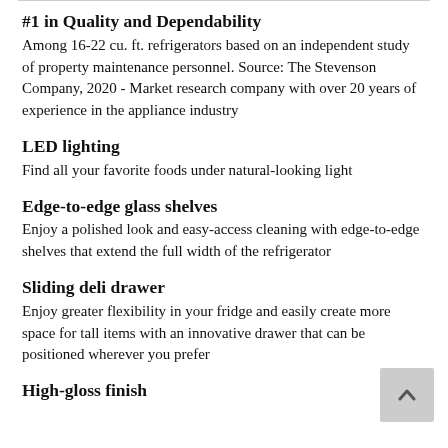#1 in Quality and Dependability
Among 16-22 cu. ft. refrigerators based on an independent study of property maintenance personnel. Source: The Stevenson Company, 2020 - Market research company with over 20 years of experience in the appliance industry
LED lighting
Find all your favorite foods under natural-looking light
Edge-to-edge glass shelves
Enjoy a polished look and easy-access cleaning with edge-to-edge shelves that extend the full width of the refrigerator
Sliding deli drawer
Enjoy greater flexibility in your fridge and easily create more space for tall items with an innovative drawer that can be positioned wherever you prefer
High-gloss finish